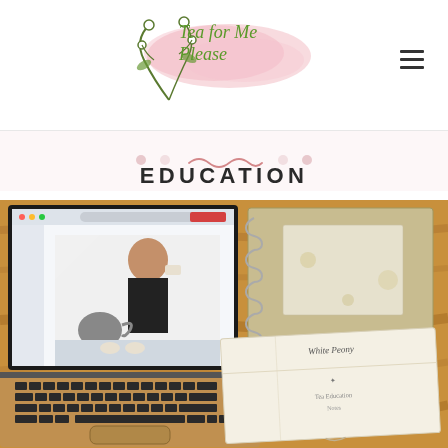[Figure (logo): Tea for Me Please logo with watercolor pink splash background and botanical branch illustration, green italic script text]
EDUCATION
[Figure (photo): Photo of a laptop displaying a video of a woman drinking tea with a teapot, beside a spiral-bound notebook and a white paper packet on a wooden surface]